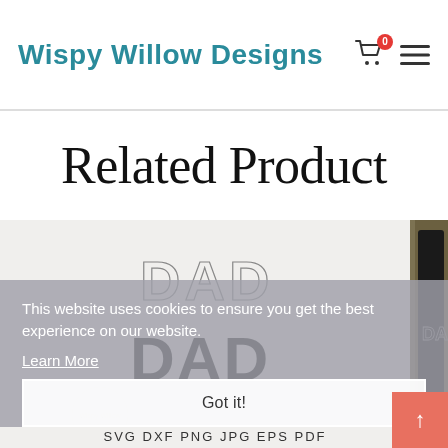Wispy Willow Designs
Related Product
[Figure (photo): Product photo showing 'DAD' SVG design in robot/mechanical style letters, with a dark t-shirt displaying the design, and format labels SVG DXF PNG JPG EPS PDF at bottom]
This website uses cookies to ensure you get the best experience on our website.
Learn More
Got it!